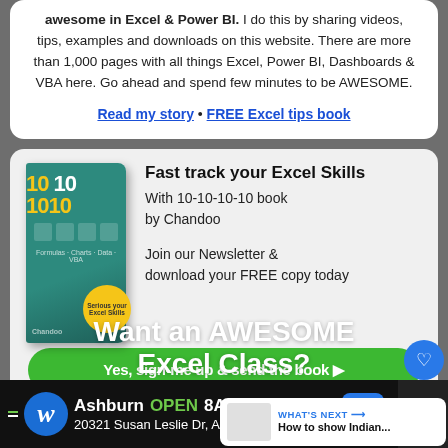awesome in Excel & Power BI. I do this by sharing videos, tips, examples and downloads on this website. There are more than 1,000 pages with all things Excel, Power BI, Dashboards & VBA here. Go ahead and spend few minutes to be AWESOME.
Read my story • FREE Excel tips book
[Figure (illustration): Book cover for 10-10-10-10 by Chandoo, teal/green cover with yellow and white numbers]
Fast track your Excel Skills
With 10-10-10-10 book
by Chandoo

Join our Newsletter &
download your FREE copy today
Yes, sign-me up & send the book ▶
WHAT'S NEXT → How to show Indian...
Want an AWESOME Excel Class?
Ashburn   OPEN  8AM–10PM
20321 Susan Leslie Dr, Ash...